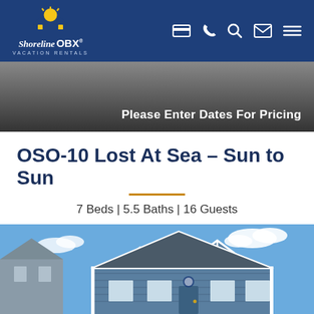Shoreline OBX Vacation Rentals
Please Enter Dates For Pricing
OSO-10 Lost At Sea - Sun to Sun
7 Beds | 5.5 Baths | 16 Guests
[Figure (photo): Exterior photo of a large blue vacation rental house in Corolla, OBX, with white trim, multiple gabled dormers and arched windows against a blue sky with clouds. A 'Corolla' location badge appears in the lower-left corner and a heart/favorite icon in the upper-right corner.]